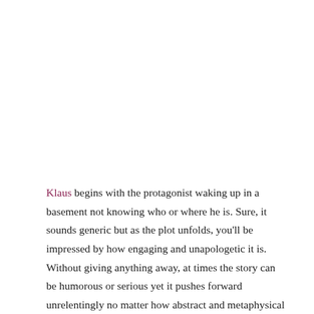Klaus begins with the protagonist waking up in a basement not knowing who or where he is. Sure, it sounds generic but as the plot unfolds, you'll be impressed by how engaging and unapologetic it is. Without giving anything away, at times the story can be humorous or serious yet it pushes forward unrelentingly no matter how abstract and metaphysical it gets. To match the insanity, stylish visuals portray each colour-coded world quite well. Although I wish there was more variety in the environments, it's great that